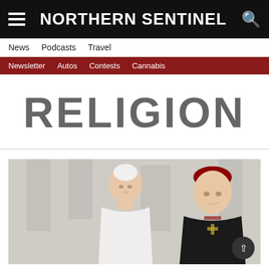NORTHERN SENTINEL
News  Podcasts  Travel
Newsletter  Autos  Contests  Cannabis
RELIGION
[Figure (photo): Two clergy figures: one in white papal vestments and white skullcap (Pope Francis), and one in black robes with red cardinal hat and pectoral cross, both smiling, photographed outdoors near a stone building.]
[Figure (photo): Advertisement banner for Kondolas Furniture - Mattresses Terrace, showing the Kondolas logo on the left, text FURNITURE - MATTRESSES TERRACE in the center, and a store building photo on the right with a red and grey exterior.]